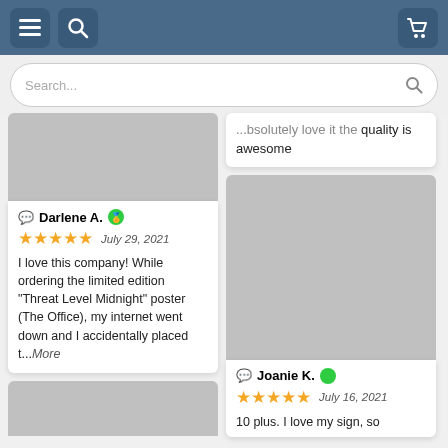Navigation header with menu, search, and cart icons
Search...
Absolutely love it the quality is awesome
[Figure (photo): Gray placeholder image for product]
Darlene A. ★★★★★ July 29, 2021 I love this company! While ordering the limited edition "Threat Level Midnight" poster (The Office), my internet went down and I accidentally placed t...More
[Figure (photo): Gray placeholder image for product]
Joanie K. ★★★★★ July 16, 2021 10 plus. I love my sign, so
[Figure (photo): Gray placeholder image bottom left]